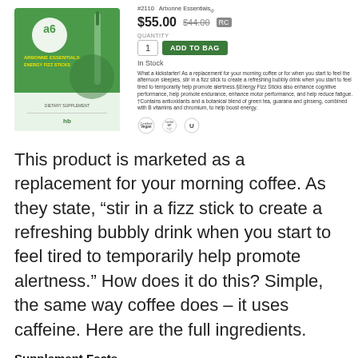[Figure (photo): Arbonne Essentials Energy Fizz Sticks product package box, green and white, showing the Arbonne logo and product branding.]
#2110  Arbonne Essentials®
$55.00   $44.00 RF
QUANTITY
1
ADD TO BAG
In Stock
What a kickstarter! As a replacement for your morning coffee or for when you start to feel the afternoon sleepies, stir in a fizz stick to create a refreshing bubbly drink when you start to feel tired to temporarily help promote alertness.§Energy Fizz Sticks also enhance cognitive performance, help promote endurance, enhance motor performance, and help reduce fatigue. †Contains antioxidants and a botanical blend of green tea, guarana and ginseng, combined with B vitamins and chromium, to help boost energy.
[Figure (other): Three certification icons: Vegan certified circle, Certified Gluten Free circle, and OU Kosher circle.]
This product is marketed as a replacement for your morning coffee. As they state, “stir in a fizz stick to create a refreshing bubbly drink when you start to feel tired to temporarily help promote alertness.” How does it do this? Simple, the same way coffee does – it uses caffeine. Here are the full ingredients.
Supplement Facts